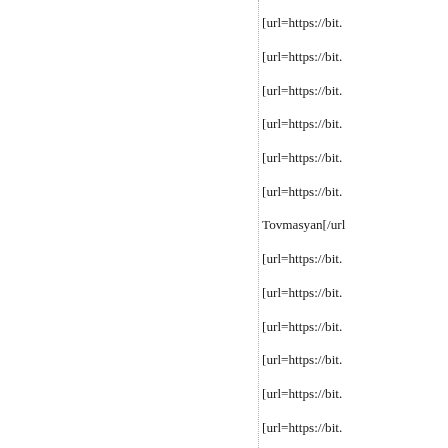[url=https://bit.
[url=https://bit.
[url=https://bit.
[url=https://bit.
[url=https://bit.
[url=https://bit.
Tovmasyan[/url
[url=https://bit.
[url=https://bit.
[url=https://bit.
[url=https://bit.
[url=https://bit.
[url=https://bit.
[url=https://bit.
[url=https://bit.
[url=https://bit.
[url=https://bit.
[url=https://bit.
[url=https://bit.
[url=https://bit.